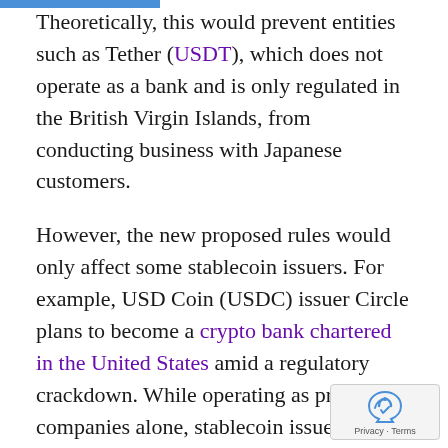Theoretically, this would prevent entities such as Tether (USDT), which does not operate as a bank and is only regulated in the British Virgin Islands, from conducting business with Japanese customers.
However, the new proposed rules would only affect some stablecoin issuers. For example, USD Coin (USDC) issuer Circle plans to become a crypto bank chartered in the United States amid a regulatory crackdown. While operating as private companies alone, stablecoin issuers are typically exempt from financial reporting, auditing or regulatory oversight, leading to notable speculative claims that Tether may not have enough reserves to back USDT.